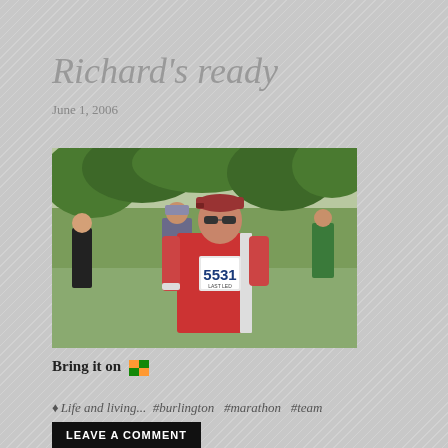Richard's ready
June 1, 2006
[Figure (photo): A man wearing a red t-shirt, red cap, and sunglasses, with a race bib number 5531 labeled 'LAST LED', standing outdoors at what appears to be a marathon event with other runners in the background.]
Bring it on 🏁
♦ Life and living... #burlington #marathon #team
LEAVE A COMMENT